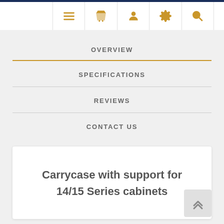Navigation bar with icons: menu, basket, user, settings, search
OVERVIEW
SPECIFICATIONS
REVIEWS
CONTACT US
Carrycase with support for 14/15 Series cabinets